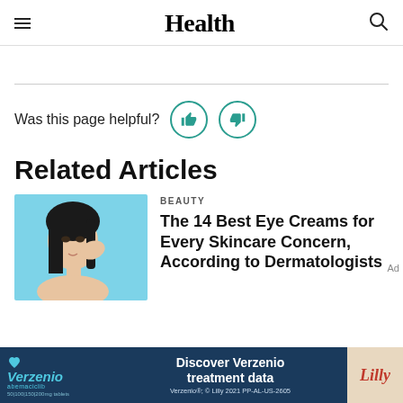Health
Was this page helpful?
Related Articles
BEAUTY
The 14 Best Eye Creams for Every Skincare Concern, According to Dermatologists
[Figure (photo): Woman applying eye cream, blue background]
Discover Verzenio treatment data. Verzenio®; © Lilly 2021 PP-AL-US-2605